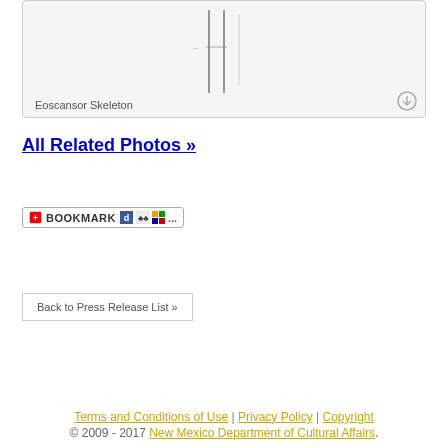[Figure (illustration): Eoscansor Skeleton image panel with skeleton illustration and download icon. Label reads 'Eoscansor Skeleton'.]
All Related Photos »
[Figure (other): Bookmark button widget with social bookmarking icons]
Back to Press Release List »
Terms and Conditions of Use | Privacy Policy | Copyright
© 2009 - 2017 New Mexico Department of Cultural Affairs.